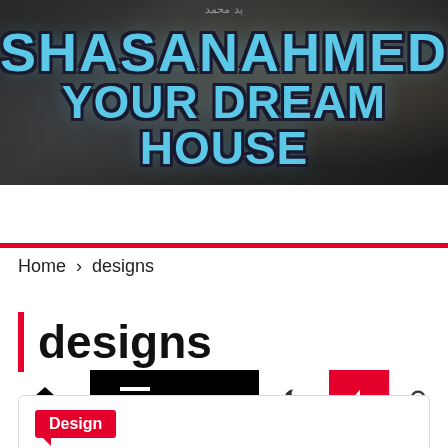يد محمد
[Figure (photo): Website header banner with blurred interior room background showing SHASANAHMED YOUR DREAM HOUSE logo in blue distressed text on dark overlay]
SHASANAHMED YOUR DREAM HOUSE
[Figure (screenshot): Navigation bar with home icon, hamburger menu, dark spacer, moon icon, red lightning bolt icon, and search icon]
Home > designs
designs
Design